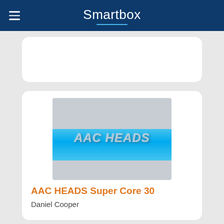Smartbox
[Figure (screenshot): Smartbox app screenshot showing AAC HEADS Super Core 30 product listing with product image and title]
AAC HEADS Super Core 30
Daniel Cooper